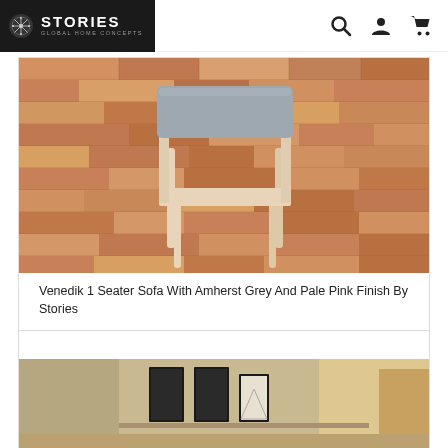STORIES GLOBAL HOME CONCEPTS
[Figure (photo): A wooden chair with grey cushion on a wood-patterned floor — product photo of Venedik 1 Seater Sofa]
Venedik 1 Seater Sofa With Amherst Grey And Pale Pink Finish By Stories
Rs 23,900.00
[Figure (photo): Interior room photo partially visible — second product card starting]